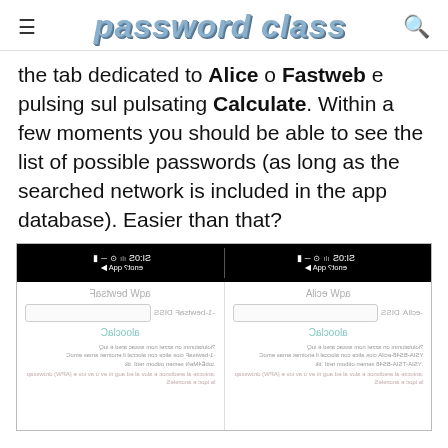password class
the tab dedicated to Alice o Fastweb e pulsing sul pulsating Calculate. Within a few moments you should be able to see the list of possible passwords (as long as the searched network is included in the app database). Easier than that?
[Figure (screenshot): Screenshot of a mobile app showing two panels: 'Fastweb Wpa' and 'Alice Wpa', each with SSID input fields and a 'Calcola' button, with result text below.]